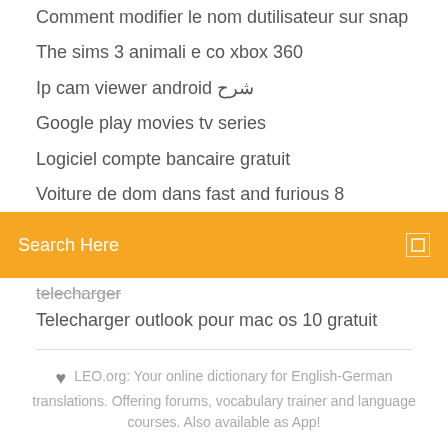Comment modifier le nom dutilisateur sur snap
The sims 3 animali e co xbox 360
Ip cam viewer android شرح
Google play movies tv series
Logiciel compte bancaire gratuit
Voiture de dom dans fast and furious 8
[Figure (screenshot): Orange search bar with text 'Search Here' and a small square icon on the right]
telecharger
Telecharger outlook pour mac os 10 gratuit
♥  LEO.org: Your online dictionary for English-German translations. Offering forums, vocabulary trainer and language courses. Also available as App!
[Figure (other): Social media icons: Facebook, Twitter, Dribbble, Behance]